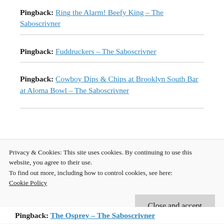Pingback: Ring the Alarm! Beefy King – The Saboscrivner
Pingback: Fuddruckers – The Saboscrivner
Pingback: Cowboy Dips & Chips at Brooklyn South Bar at Aloma Bowl – The Saboscrivner
Privacy & Cookies: This site uses cookies. By continuing to use this website, you agree to their use.
To find out more, including how to control cookies, see here: Cookie Policy
Close and accept
Pingback: The Osprey – The Saboscrivner